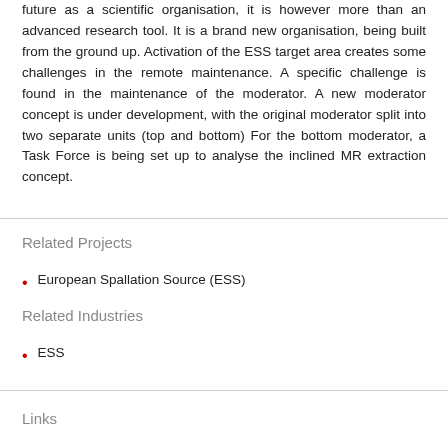future as a scientific organisation, it is however more than an advanced research tool. It is a brand new organisation, being built from the ground up. Activation of the ESS target area creates some challenges in the remote maintenance. A specific challenge is found in the maintenance of the moderator. A new moderator concept is under development, with the original moderator split into two separate units (top and bottom) For the bottom moderator, a Task Force is being set up to analyse the inclined MR extraction concept.
Related Projects
European Spallation Source (ESS)
Related Industries
ESS
Links